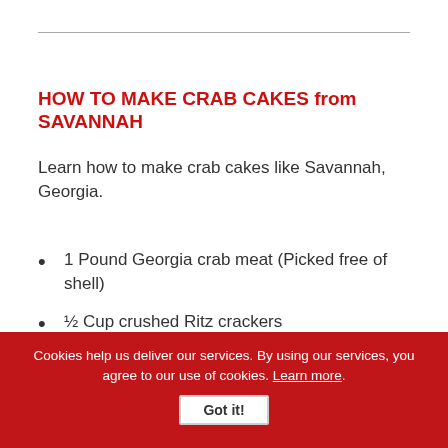HOW TO MAKE CRAB CAKES from SAVANNAH
Learn how to make crab cakes like Savannah, Georgia.
1 Pound Georgia crab meat (Picked free of shell)
½ Cup crushed Ritz crackers
3 Green onions (Chopped fine with tops)
½ Cup green bell pepper (Chopped fine)
Cookies help us deliver our services. By using our services, you agree to our use of cookies. Learn more. Got it!